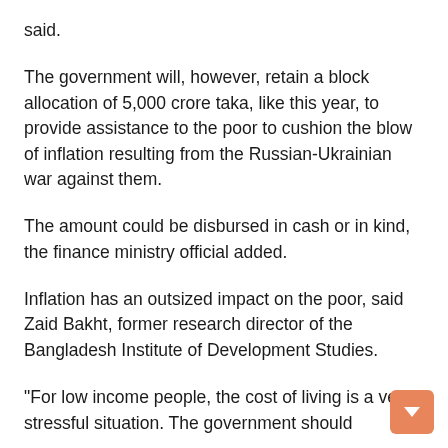said.
The government will, however, retain a block allocation of 5,000 crore taka, like this year, to provide assistance to the poor to cushion the blow of inflation resulting from the Russian-Ukrainian war against them.
The amount could be disbursed in cash or in kind, the finance ministry official added.
Inflation has an outsized impact on the poor, said Zaid Bakht, former research director of the Bangladesh Institute of Development Studies.
“For low income people, the cost of living is a very stressful situation. The government should